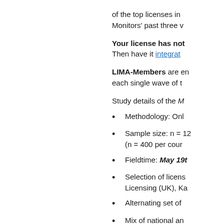of the top licenses in Monitors' past three v
Your license has not Then have it integrat
LIMA-Members are en each single wave of t
Study details of the M
Methodology: Onl
Sample size: n = 12 (n = 400 per cour
Fieldtime: May 19th
Selection of licens Licensing (UK), Ka
Alternating set of
Mix of national an
Covered variables
Basic indicator